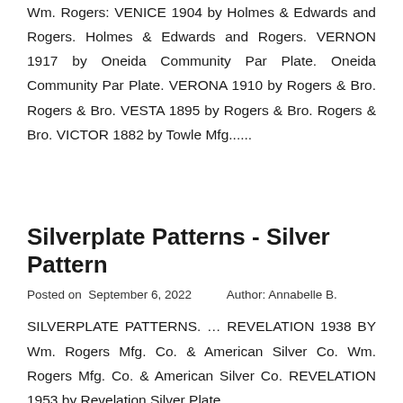Wm. Rogers: VENICE 1904 by Holmes & Edwards and Rogers. Holmes & Edwards and Rogers. VERNON 1917 by Oneida Community Par Plate. Oneida Community Par Plate. VERONA 1910 by Rogers & Bro. Rogers & Bro. VESTA 1895 by Rogers & Bro. Rogers & Bro. VICTOR 1882 by Towle Mfg......
Silverplate Patterns - Silver Pattern
Posted on  September 6, 2022     Author: Annabelle B.
SILVERPLATE PATTERNS. … REVELATION 1938 BY Wm. Rogers Mfg. Co. & American Silver Co. Wm. Rogers Mfg. Co. & American Silver Co. REVELATION 1953 by Revelation Silver Plate.